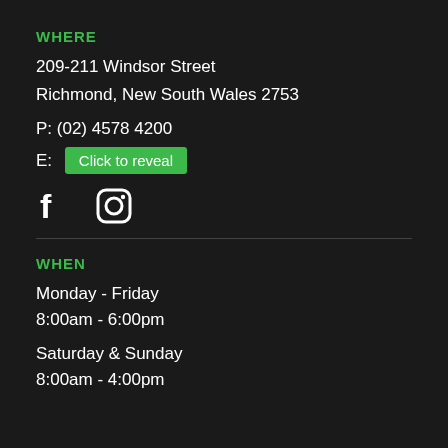WHERE
209-211 Windsor Street
Richmond, New South Wales 2753
P: (02) 4578 4200
E: Click to reveal
[Figure (other): Social media icons: Facebook and Instagram]
WHEN
Monday - Friday
8:00am - 6:00pm
Saturday & Sunday
8:00am - 4:00pm